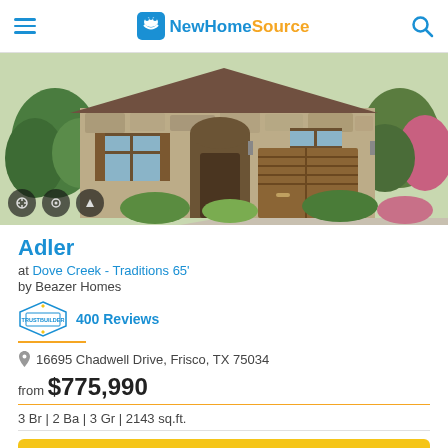NewHomeSource
[Figure (photo): Exterior rendering of the Adler home plan — single-story stone and brick facade with arched entry, two car garage with wood-tone doors, and landscaped front yard.]
Adler
at Dove Creek - Traditions 65'
by Beazer Homes
400 Reviews
16695 Chadwell Drive, Frisco, TX 75034
from $775,990
3 Br | 2 Ba | 3 Gr | 2143 sq.ft.
Get Brochure